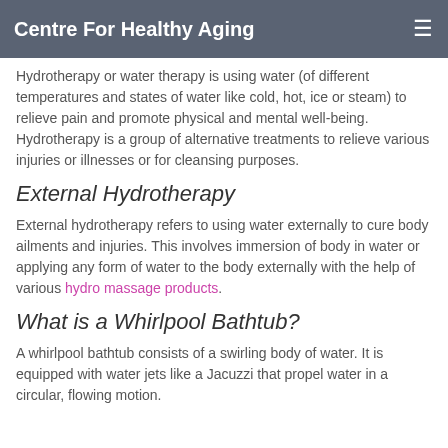Centre For Healthy Aging
Hydrotherapy or water therapy is using water (of different temperatures and states of water like cold, hot, ice or steam) to relieve pain and promote physical and mental well-being. Hydrotherapy is a group of alternative treatments to relieve various injuries or illnesses or for cleansing purposes.
External Hydrotherapy
External hydrotherapy refers to using water externally to cure body ailments and injuries. This involves immersion of body in water or applying any form of water to the body externally with the help of various hydro massage products.
What is a Whirlpool Bathtub?
A whirlpool bathtub consists of a swirling body of water. It is equipped with water jets like a Jacuzzi that propel water in a circular, flowing motion.